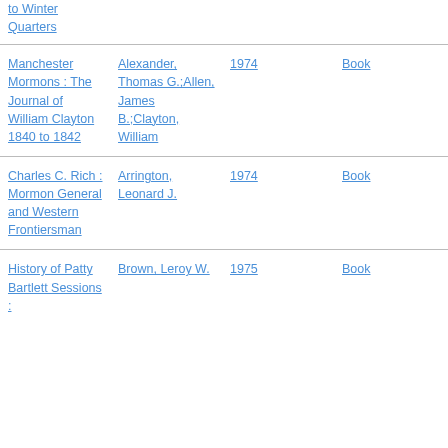| Title | Author | Year | Type |
| --- | --- | --- | --- |
| [...] to Winter Quarters |  |  |  |
| Manchester Mormons : The Journal of William Clayton 1840 to 1842 | Alexander, Thomas G.;Allen, James B.;Clayton, William | 1974 | Book |
| Charles C. Rich : Mormon General and Western Frontiersman | Arrington, Leonard J. | 1974 | Book |
| History of Patty Bartlett Sessions : | Brown, Leroy W. | 1975 | Book |